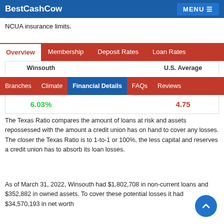BestCashCow | MENU
insured in the overview section above, are insured. Depositors should be careful to re... NCUA insurance limits.
Overview | Membership | Deposit Rates | Loan Rates
| Winsouth | U.S. Average |
| --- | --- |
| 6.03% | 4.75 |
Branches | Climate | Financial Details | FAQs | Reviews
The Texas Ratio compares the amount of loans at risk and assets repossessed with the amount a credit union has on hand to cover any losses. The closer the Texas Ratio is to 1-to-1 or 100%, the less capital and reserves a credit union has to absorb its loan losses.
As of March 31, 2022, Winsouth had $1,802,708 in non-current loans and $352,882 in owned assets. To cover these potential losses it had $34,570,193 in net worth